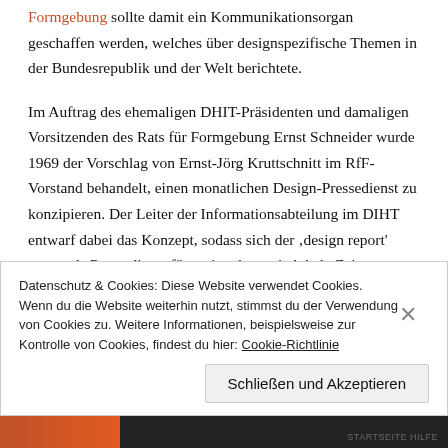Formgebung sollte damit ein Kommunikationsorgan geschaffen werden, welches über designspezifische Themen in der Bundesrepublik und der Welt berichtete.
Im Auftrag des ehemaligen DHIT-Präsidenten und damaligen Vorsitzenden des Rats für Formgebung Ernst Schneider wurde 1969 der Vorschlag von Ernst-Jörg Kruttschnitt im RfF-Vorstand behandelt, einen monatlichen Design-Pressedienst zu konzipieren. Der Leiter der Informationsabteilung im DIHT entwarf dabei das Konzept, sodass sich der 'design report' zuerst als Pressedienst für nationale sowie lokale Zeitungen und
Datenschutz & Cookies: Diese Website verwendet Cookies. Wenn du die Website weiterhin nutzt, stimmst du der Verwendung von Cookies zu. Weitere Informationen, beispielsweise zur Kontrolle von Cookies, findest du hier: Cookie-Richtlinie
Schließen und Akzeptieren